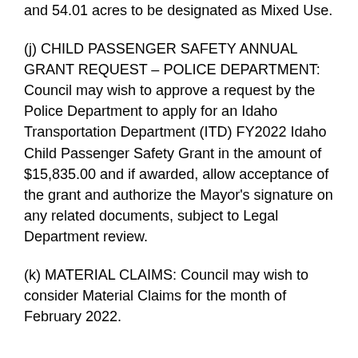and 54.01 acres to be designated as Mixed Use.
(j) CHILD PASSENGER SAFETY ANNUAL GRANT REQUEST – POLICE DEPARTMENT: Council may wish to approve a request by the Police Department to apply for an Idaho Transportation Department (ITD) FY2022 Idaho Child Passenger Safety Grant in the amount of $15,835.00 and if awarded, allow acceptance of the grant and authorize the Mayor's signature on any related documents, subject to Legal Department review.
(k) MATERIAL CLAIMS: Council may wish to consider Material Claims for the month of February 2022.